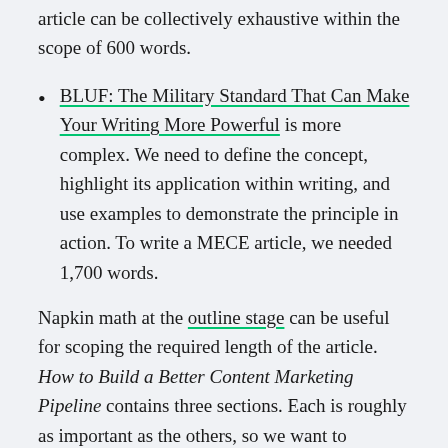article can be collectively exhaustive within the scope of 600 words.
BLUF: The Military Standard That Can Make Your Writing More Powerful is more complex. We need to define the concept, highlight its application within writing, and use examples to demonstrate the principle in action. To write a MECE article, we needed 1,700 words.
Napkin math at the outline stage can be useful for scoping the required length of the article. How to Build a Better Content Marketing Pipeline contains three sections. Each is roughly as important as the others, so we want to allocate an even word count to each.